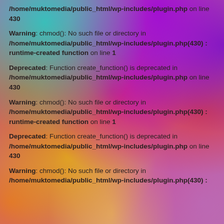/home/muktomedia/public_html/wp-includes/plugin.php on line 430
Warning: chmod(): No such file or directory in /home/muktomedia/public_html/wp-includes/plugin.php(430) : runtime-created function on line 1
Deprecated: Function create_function() is deprecated in /home/muktomedia/public_html/wp-includes/plugin.php on line 430
Warning: chmod(): No such file or directory in /home/muktomedia/public_html/wp-includes/plugin.php(430) : runtime-created function on line 1
Deprecated: Function create_function() is deprecated in /home/muktomedia/public_html/wp-includes/plugin.php on line 430
Warning: chmod(): No such file or directory in /home/muktomedia/public_html/wp-includes/plugin.php(430) :